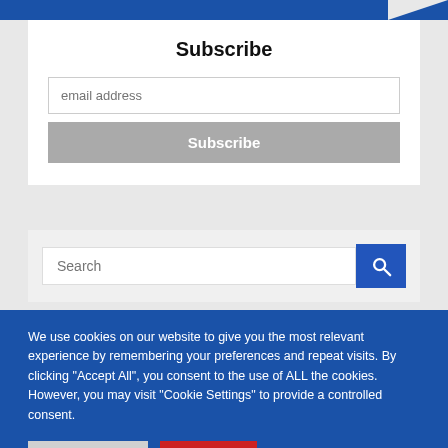Subscribe
email address
Subscribe
Search
We use cookies on our website to give you the most relevant experience by remembering your preferences and repeat visits. By clicking "Accept All", you consent to the use of ALL the cookies. However, you may visit "Cookie Settings" to provide a controlled consent.
Cookie Settings
Accept All